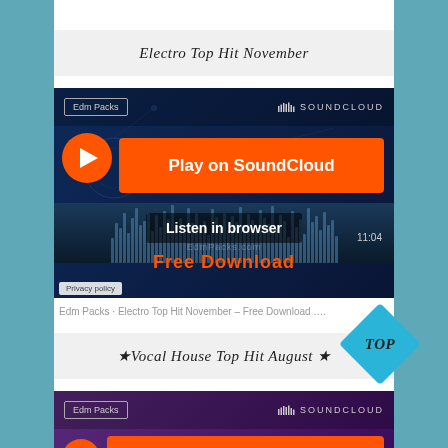Electro Top Hit November
[Figure (screenshot): SoundCloud embedded player for 'Electro Top Hit November – Free Download' by Edm Packs. Shows orange 'Play on SoundCloud' button and 'Listen in browser' overlay with waveform and 'Free Download' text.]
Edm Packs · Electro Top Hit November – Free Download ….
★Vocal House Top Hit August ★
[Figure (screenshot): SoundCloud embedded player for Vocal House Top Hit August by Edm Packs. Shows orange 'Play on SoundCloud' button on purple background.]